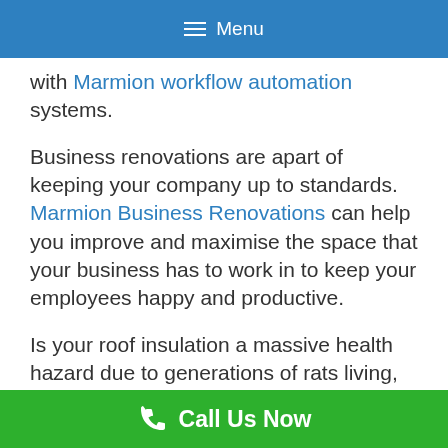≡ Menu
with Marmion workflow automation systems.
Business renovations are apart of keeping your company up to standards. Marmion Business Renovations can help you improve and maximise the space that your business has to work in to keep your employees happy and productive.
Is your roof insulation a massive health hazard due to generations of rats living, breeding and dying your Marmion business roof space? Marmion insulation
Call Us Now